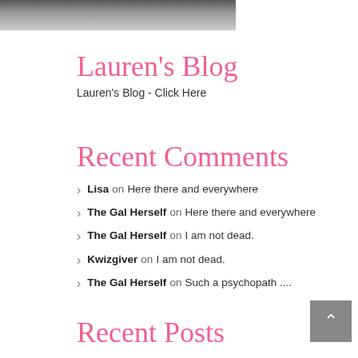[Figure (photo): Partial photo of people, cropped at top of page]
Lauren's Blog
Lauren's Blog - Click Here
Recent Comments
Lisa on Here there and everywhere
The Gal Herself on Here there and everywhere
The Gal Herself on I am not dead.
Kwizgiver on I am not dead.
The Gal Herself on Such a psychopath ....
Recent Posts